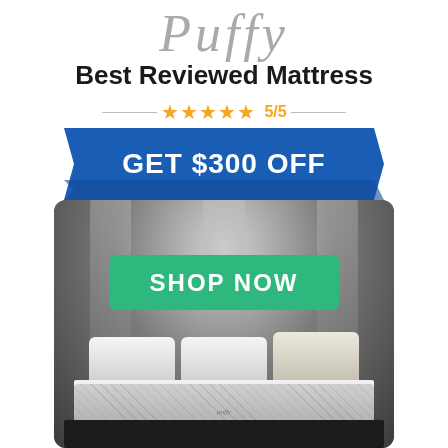Puffy
Best Reviewed Mattress
★★★★★ 5/5
[Figure (infographic): Blue banner ribbon shape with text GET $300 OFF]
[Figure (photo): Photo of a Puffy mattress on a bed frame with pillows against a dark paneled wall background, with a green SHOP NOW button overlay]